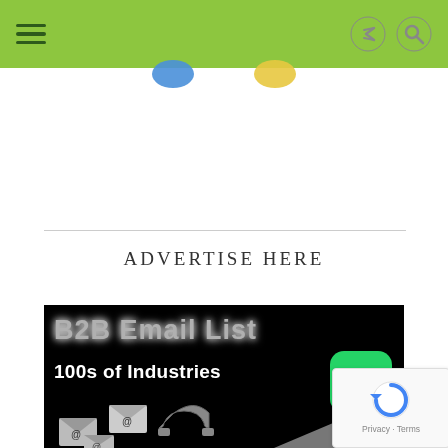[Figure (screenshot): Website navigation bar with green background, hamburger menu on left, share and search icons on right]
[Figure (illustration): Two small circular social media icons (blue and yellow/gold) partially visible below nav bar]
ADVERTISE HERE
[Figure (infographic): B2B Email List advertisement banner on black background with text 'B2B Email List' in metallic letters, '100s of Industries' in white bold text, WhatsApp icon, email envelope icons with @ symbols, a magnet, and a gray triangle. Also shows reCAPTCHA badge with Privacy - Terms text.]